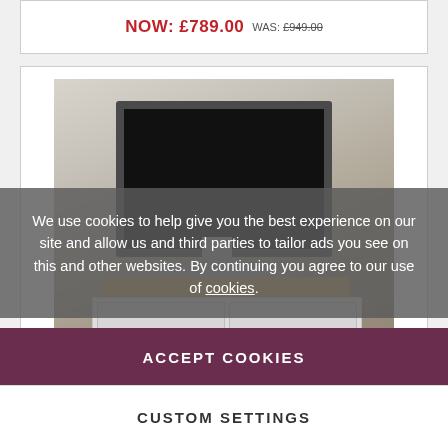NOW: £789.00 WAS: £949.00
[Figure (photo): A flatscreen TV sitting on a wooden shelf atop a grey painted TV cabinet unit, against a neutral/cream wall, with soft furnishings partially visible on the right.]
We use cookies to help give you the best experience on our site and allow us and third parties to tailor ads you see on this and other websites. By continuing you agree to our use of cookies.
ACCEPT COOKIES
CUSTOM SETTINGS